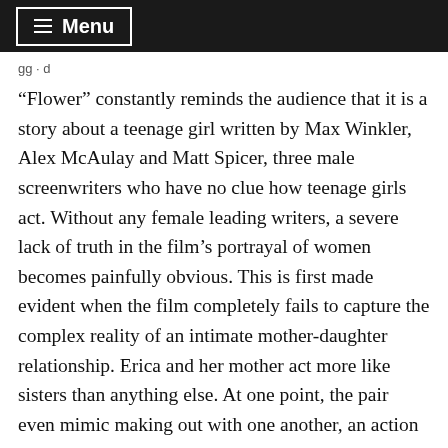≡ Menu
gg · d
“Flower” constantly reminds the audience that it is a story about a teenage girl written by Max Winkler, Alex McAulay and Matt Spicer, three male screenwriters who have no clue how teenage girls act. Without any female leading writers, a severe lack of truth in the film’s portrayal of women becomes painfully obvious. This is first made evident when the film completely fails to capture the complex reality of an intimate mother-daughter relationship. Erica and her mother act more like sisters than anything else. At one point, the pair even mimic making out with one another, an action no mother or daughter would partake in, no matter how close their relationship is. Their squabbles sound like the kind of arguments two best friends would get into on their prom night, not the kind of arguments a single mom would have with her only child. The nonchalant attitude Erica has toward her own sexuality is yet another bizarre attempt by male screenwriters to develop a coming-of-age female protagonist without any grasp of what it means to be